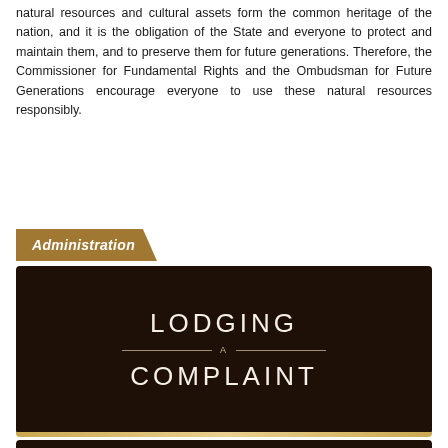natural resources and cultural assets form the common heritage of the nation, and it is the obligation of the State and everyone to protect and maintain them, and to preserve them for future generations. Therefore, the Commissioner for Fundamental Rights and the Ombudsman for Future Generations encourage everyone to use these natural resources responsibly.
Administration
[Figure (other): Dark brown banner with text 'LODGING A COMPLAINT' in large spaced capital letters on dark background with decorative divider line and 'A' in the middle]